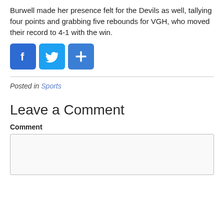Burwell made her presence felt for the Devils as well, tallying four points and grabbing five rebounds for VGH, who moved their record to 4-1 with the win.
[Figure (other): Social sharing icons: Facebook (blue f), Twitter (blue bird), and a blue plus/share button]
Posted in Sports
Leave a Comment
Comment
[Figure (other): Empty comment text area input box]